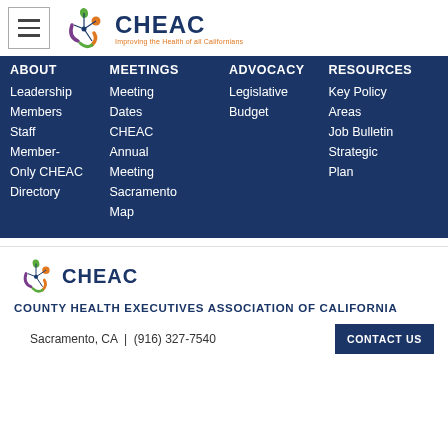[Figure (logo): CHEAC logo with hamburger menu icon and text 'Improving the Health of all Californians']
ABOUT   MEETINGS   ADVOCACY   RESOURCES
Leadership
Members
Staff
Member-Only CHEAC Directory
Meeting Dates
CHEAC Annual Meeting
Sacramento Map
Legislative
Budget
Key Policy Areas
Job Bulletin
Strategic Plan
[Figure (logo): CHEAC footer logo]
COUNTY HEALTH EXECUTIVES ASSOCIATION OF CALIFORNIA
Sacramento, CA  |  (916) 327-7540
CONTACT US